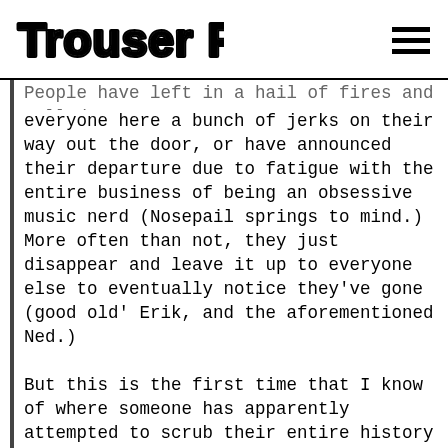Trouser Press
People have left in a hail of fires and called everyone here a bunch of jerks on their way out the door, or have announced their departure due to fatigue with the entire business of being an obsessive music nerd (Nosepail springs to mind.) More often than not, they just disappear and leave it up to everyone else to eventually notice they've gone (good old' Erik, and the aforementioned Ned.)

But this is the first time that I know of where someone has apparently attempted to scrub their entire history from this site, which I find curious, as I don't recall them ever posting anything that would need erasing. Heck, not even the person who argued in favor of incest re: John & MacKenzie Phillips went to that extreme. They just kind of quietly went away shortly after that